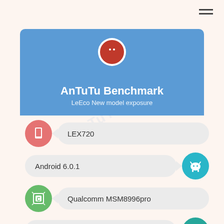AnTuTu Benchmark
LeEco New model exposure
LEX720
Android 6.0.1
Qualcomm MSM8996pro
Adreno | (TM) | 530
1920 x 1080